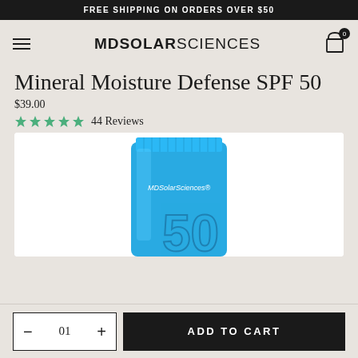FREE SHIPPING ON ORDERS OVER $50
[Figure (logo): MDSolarSciences logo with hamburger menu and cart icon with 0 badge]
Mineral Moisture Defense SPF 50
$39.00
★★★★★ 44 Reviews
[Figure (photo): Blue MDSolarSciences sunscreen tube product with SPF 50 displayed on white background]
- 01 + ADD TO CART